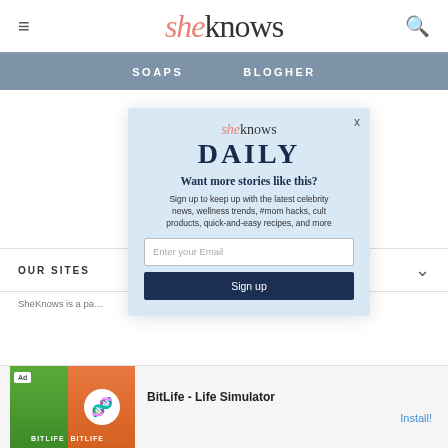sheknows
SOAPS  BLOGHER
[Figure (screenshot): SheKnows Daily newsletter modal popup with logo, headline 'Want more stories like this?', email input field, and sign up button]
OUR SITES
SheKnows is a pa... lia, LLC. All Rights
[Figure (screenshot): Ad banner for BitLife - Life Simulator app with colorful game imagery and Install button]